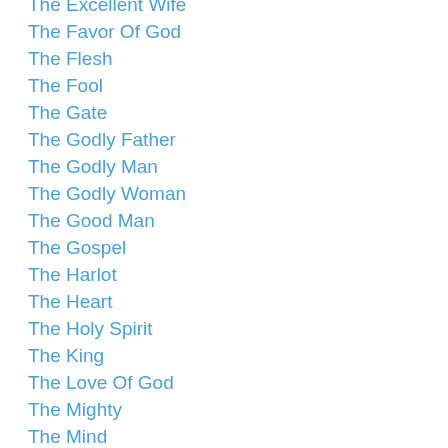The Excellent Wife
The Favor Of God
The Flesh
The Fool
The Gate
The Godly Father
The Godly Man
The Godly Woman
The Good Man
The Gospel
The Harlot
The Heart
The Holy Spirit
The King
The Love Of God
The Mighty
The Mind
The Mouth
Theology
The Poor
The Poor Man